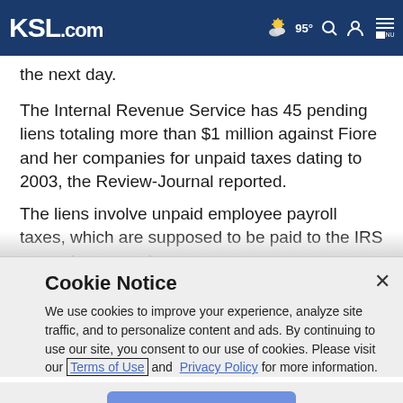KSL.com — 95° weather, search, account, menu icons
the next day.
The Internal Revenue Service has 45 pending liens totaling more than $1 million against Fiore and her companies for unpaid taxes dating to 2003, the Review-Journal reported.
The liens involve unpaid employee payroll taxes, which are supposed to be paid to the IRS every three months,
Cookie Notice
We use cookies to improve your experience, analyze site traffic, and to personalize content and ads. By continuing to use our site, you consent to our use of cookies. Please visit our Terms of Use and Privacy Policy for more information.
Continue